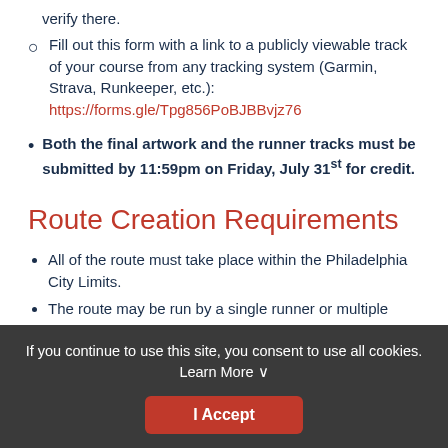verify there.
Fill out this form with a link to a publicly viewable track of your course from any tracking system (Garmin, Strava, Runkeeper, etc.): https://forms.gle/Tpg856PoBJBBvjz76
Both the final artwork and the runner tracks must be submitted by 11:59pm on Friday, July 31st for credit.
Route Creation Requirements
All of the route must take place within the Philadelphia City Limits.
The route may be run by a single runner or multiple runners from the club
If you continue to use this site, you consent to use all cookies. Learn More
I Accept